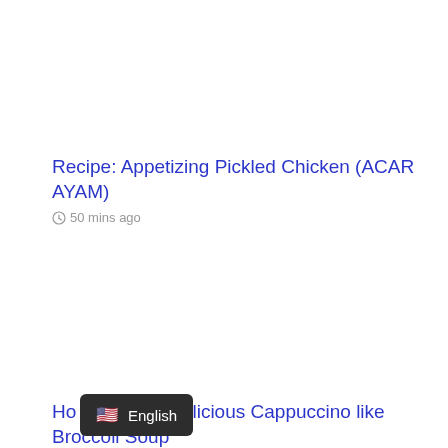Recipe: Appetizing Pickled Chicken (ACAR AYAM)
50 mins ago
How to make Delicious Cappuccino like Broccoli Soup
2...
[Figure (screenshot): Language selector overlay showing US flag emoji and text 'English' on dark background]